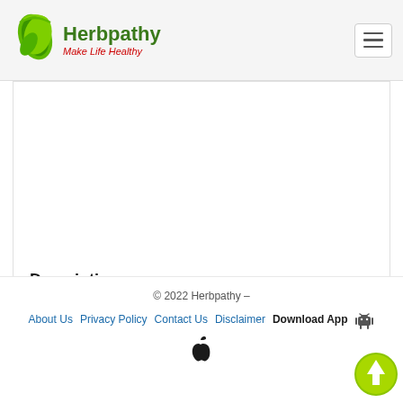Herbpathy - Make Life Healthy
Description
Indian Kudzu is a shrub.
It is perennial.
It grows in a tropical climate.
It climbs up to 60 Cm.
Best used for Impotence.
© 2022 Herbpathy – About Us  Privacy Policy  Contact Us  Disclaimer  Download App